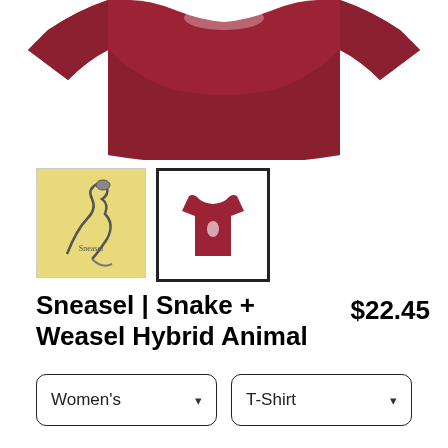[Figure (photo): Hero image of a dark red/maroon women's t-shirt folded, shown from above against white background]
[Figure (photo): Thumbnail 1: yellow background with snake-weasel hybrid animal illustration and 'Sneasel' text]
[Figure (photo): Thumbnail 2: dark red women's t-shirt with small logo, selected (black border)]
Sneasel | Snake + Weasel Hybrid Animal
$22.45
Women's
T-Shirt
SELECT YOUR FIT
$22.45
Fitted
$27.95
Extra Soft